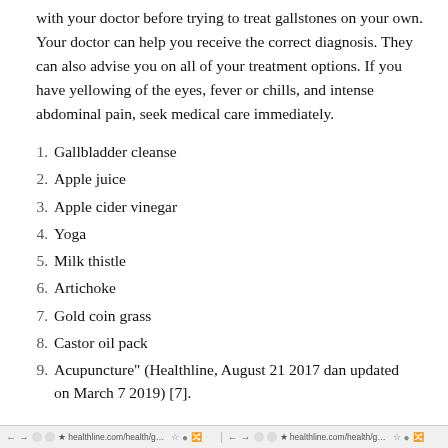with your doctor before trying to treat gallstones on your own. Your doctor can help you receive the correct diagnosis. They can also advise you on all of your treatment options. If you have yellowing of the eyes, fever or chills, and intense abdominal pain, seek medical care immediately.
Gallbladder cleanse
Apple juice
Apple cider vinegar
Yoga
Milk thistle
Artichoke
Gold coin grass
Castor oil pack
Acupuncture" (Healthline, August 21 2017 dan updated on March 7 2019) [7].
healthline.com/health/gal...   healthline.com/health/gal...